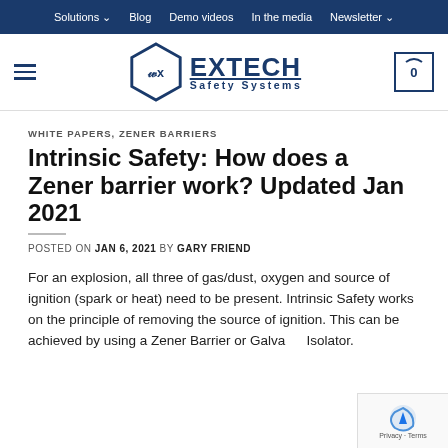Solutions  Blog  Demo videos  In the media  Newsletter
[Figure (logo): Extech Safety Systems logo with hexagonal Ex symbol and shopping cart icon]
WHITE PAPERS, ZENER BARRIERS
Intrinsic Safety: How does a Zener barrier work? Updated Jan 2021
POSTED ON JAN 6, 2021 BY GARY FRIEND
For an explosion, all three of gas/dust, oxygen and source of ignition (spark or heat) need to be present. Intrinsic Safety works on the principle of removing the source of ignition. This can be achieved by using a Zener Barrier or Galvanic Isolator.